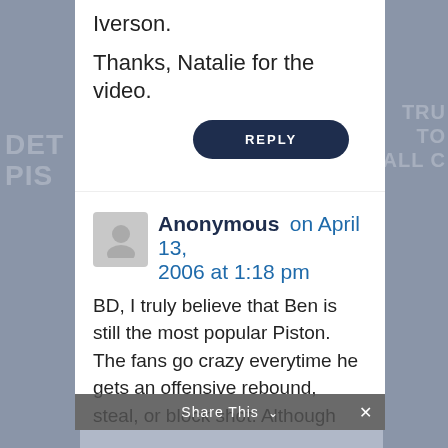Iverson.
Thanks, Natalie for the video.
REPLY
Anonymous on April 13, 2006 at 1:18 pm
BD, I truly believe that Ben is still the most popular Piston. The fans go crazy everytime he gets an offensive rebound, steal, or block shot. Although every Piston fan has his/her favorite (mine is Chauncey), I would say that Ben Wallace is the face of the franchise. Just
Share This